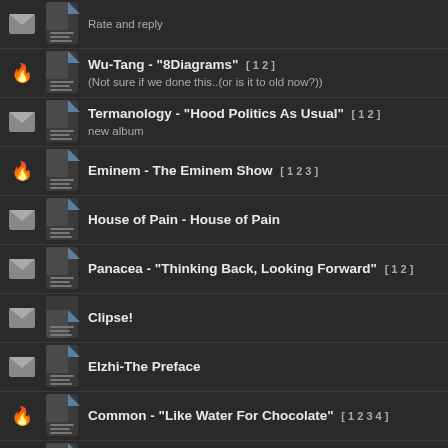Rate and reply
Wu-Tang - "8Diagrams" [1 2] (Not sure if we done this..(or is it to old now?))
Termanology - "Hood Politics As Usual" [1 2] new album
Eminem - The Eminem Show [1 2 3]
House of Pain - House of Pain
Panacea - "Thinking Back, Looking Forward" [1 2]
Clipse!
Elzhi-The Preface
Common - "Like Water For Chocolate" [1 2 3 4]
Del tha Funkee Homosapien - No Need For Alarm
Jay-Z - Reasonable Doubt [1 2]
Master Ace - Take A Look Around